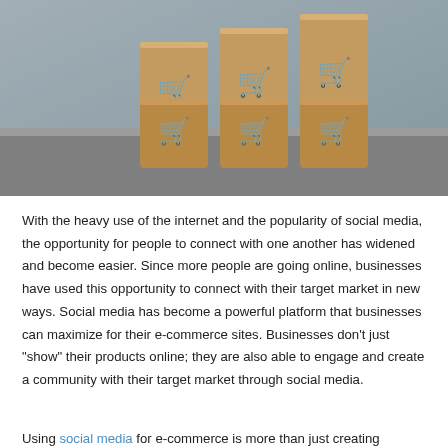[Figure (photo): Wooden blocks with shopping cart icons printed on them, arranged in a staircase pattern on a gray surface, suggesting e-commerce growth.]
With the heavy use of the internet and the popularity of social media, the opportunity for people to connect with one another has widened and become easier. Since more people are going online, businesses have used this opportunity to connect with their target market in new ways. Social media has become a powerful platform that businesses can maximize for their e-commerce sites. Businesses don't just "show" their products online; they are also able to engage and create a community with their target market through social media.
Using social media for e-commerce is more than just creating